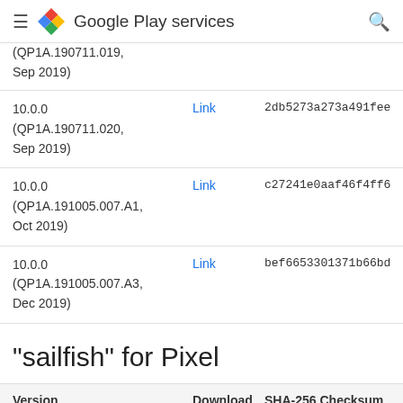Google Play services
| Version | Download | SHA-256 Checksum |
| --- | --- | --- |
| 10.0.0 (QP1A.190711.019, Sep 2019) | Link | (truncated) |
| 10.0.0 (QP1A.190711.020, Sep 2019) | Link | 2db5273a273a491fee3e1... |
| 10.0.0 (QP1A.191005.007.A1, Oct 2019) | Link | c27241e0aaf46f4ff60d82... |
| 10.0.0 (QP1A.191005.007.A3, Dec 2019) | Link | bef6653301371b66bd7fca... |
"sailfish" for Pixel
| Version | Download | SHA-256 Checksum |
| --- | --- | --- |